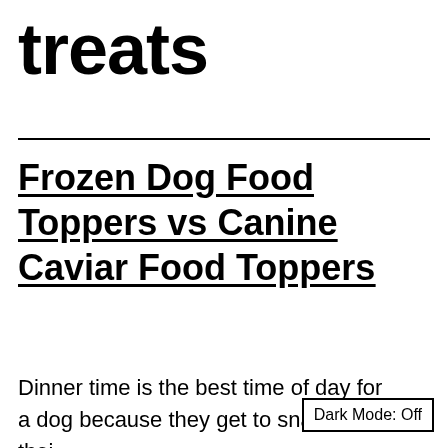treats
Frozen Dog Food Toppers vs Canine Caviar Food Toppers
Dinner time is the best time of day for a dog because they get to snack on thei
Dark Mode: Off